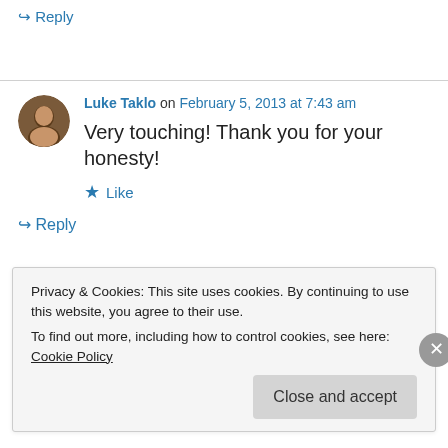↳ Reply
Luke Taklo on February 5, 2013 at 7:43 am
Very touching! Thank you for your honesty!
★ Like
↳ Reply
Privacy & Cookies: This site uses cookies. By continuing to use this website, you agree to their use.
To find out more, including how to control cookies, see here: Cookie Policy
Close and accept